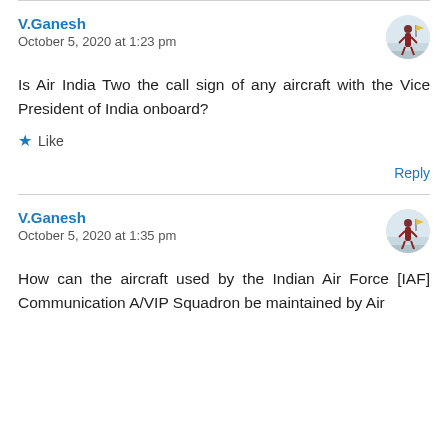V.Ganesh
October 5, 2020 at 1:23 pm
Is Air India Two the call sign of any aircraft with the Vice President of India onboard?
Like
Reply
V.Ganesh
October 5, 2020 at 1:35 pm
How can the aircraft used by the Indian Air Force [IAF] Communication A/VIP Squadron be maintained by Air